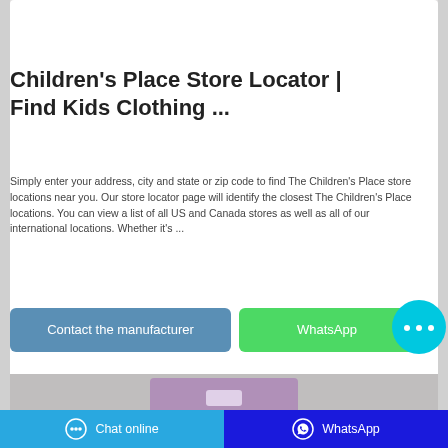[Figure (photo): Product photo at top of card showing toiletry/cosmetic items on light background]
Children's Place Store Locator | Find Kids Clothing ...
Simply enter your address, city and state or zip code to find The Children's Place store locations near you. Our store locator page will identify the closest The Children's Place locations. You can view a list of all US and Canada stores as well as all of our international locations. Whether it's ...
[Figure (screenshot): Contact the manufacturer button (blue-grey) and WhatsApp button (green) and a cyan chat bubble icon]
[Figure (photo): Product image at bottom showing packaging on grey background with purple product]
Chat online   WhatsApp